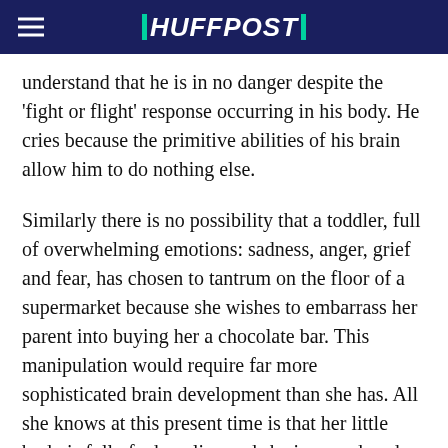HUFFPOST
understand that he is in no danger despite the 'fight or flight' response occurring in his body. He cries because the primitive abilities of his brain allow him to do nothing else.
Similarly there is no possibility that a toddler, full of overwhelming emotions: sadness, anger, grief and fear, has chosen to tantrum on the floor of a supermarket because she wishes to embarrass her parent into buying her a chocolate bar. This manipulation would require far more sophisticated brain development than she has. All she knows at this present time is that her little body is full of adrenaline and she is scared, sad, mad and out of control. Can